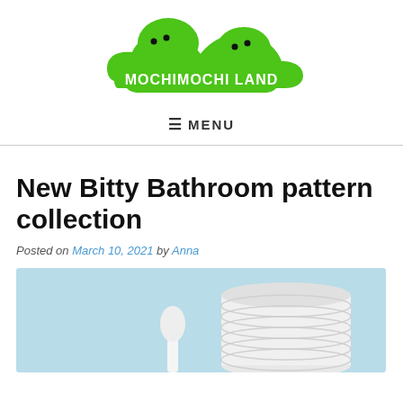[Figure (logo): Mochimochi Land logo: green blobby creature shape with two dots for eyes on the left hump, two dots on right hump, and white bold text 'MOCHIMOCHI LAND' on the green shape.]
≡ MENU
New Bitty Bathroom pattern collection
Posted on March 10, 2021 by Anna
[Figure (photo): Photo of white knitted/crocheted bathroom-themed miniature figures (toilet paper roll and possibly a toilet brush) against a light blue background.]